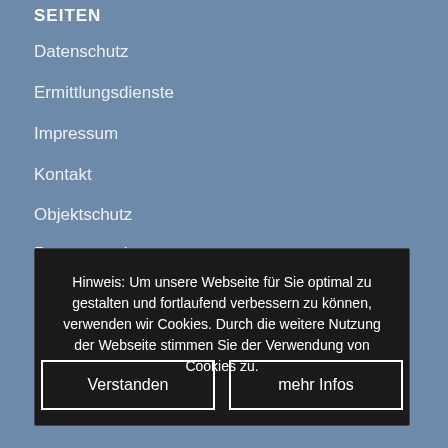SEITEN
Datenschutz
Ermittlungsdienste
Impressum
Kontakt
Objektschutz
Personenschutz
Preise und Abgaben
Revierdienste
Security Blog
Sicherheitsdienste
Startseite
Über uns
Veranstaltungen
Hinweis: Um unsere Webseite für Sie optimal zu gestalten und fortlaufend verbessern zu können, verwenden wir Cookies. Durch die weitere Nutzung der Webseite stimmen Sie der Verwendung von Cookies zu.
Verstanden
mehr Infos